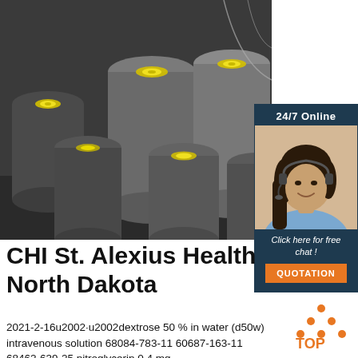[Figure (photo): Stack of large dark steel round bars/rods with yellow end caps, stored in an industrial warehouse setting.]
[Figure (illustration): 24/7 Online customer service chat widget showing a female agent wearing a headset with text 'Click here for free chat!' and an orange QUOTATION button.]
CHI St. Alexius Health North Dakota
[Figure (logo): Orange triangular TOP logo mark]
2021-2-16u2002·u2002dextrose 50 % in water (d50w) intravenous solution 68084-783-11 60687-163-11 68462-639-25 nitroglycerin 0.4 mg